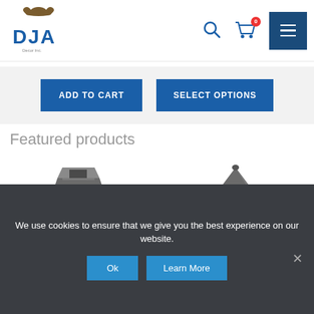[Figure (logo): DJA company logo with ornate scroll/floral design above letters D, J, A in blue]
[Figure (screenshot): Search icon (magnifying glass) in blue]
[Figure (screenshot): Shopping cart icon with red badge showing 0]
[Figure (screenshot): Dark blue hamburger menu button with three horizontal white lines]
ADD TO CART
SELECT OPTIONS
Featured products
[Figure (photo): Gray concrete/stone square post cap or decorative block (left product)]
[Figure (photo): Gray concrete/stone pyramid-shaped post cap (right product)]
We use cookies to ensure that we give you the best experience on our website.
Ok
Learn More